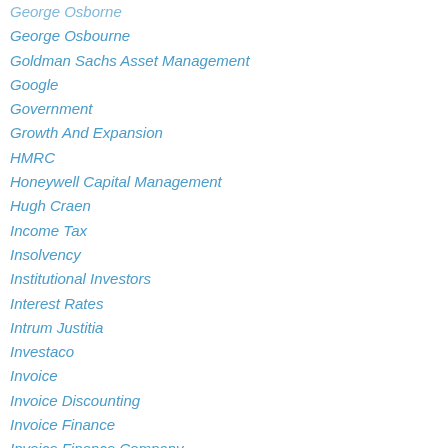George Osborne
George Osbourne
Goldman Sachs Asset Management
Google
Government
Growth And Expansion
HMRC
Honeywell Capital Management
Hugh Craen
Income Tax
Insolvency
Institutional Investors
Interest Rates
Intrum Justitia
Investaco
Invoice
Invoice Discounting
Invoice Finance
Invoice Finance Company
John Bevan
John Onslow